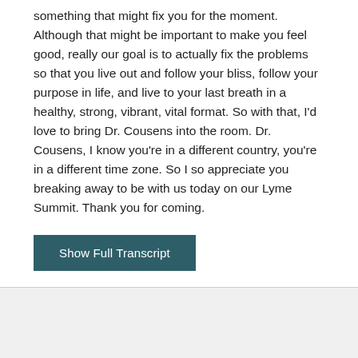something that might fix you for the moment. Although that might be important to make you feel good, really our goal is to actually fix the problems so that you live out and follow your bliss, follow your purpose in life, and live to your last breath in a healthy, strong, vibrant, vital format. So with that, I'd love to bring Dr. Cousens into the room. Dr. Cousens, I know you're in a different country, you're in a different time zone. So I so appreciate you breaking away to be with us today on our Lyme Summit. Thank you for coming.
Show Full Transcript